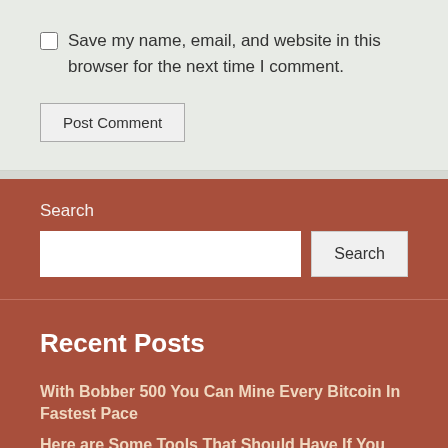Save my name, email, and website in this browser for the next time I comment.
Post Comment
Search
Recent Posts
With Bobber 500 You Can Mine Every Bitcoin In Fastest Pace
Here are Some Tools That Should Have If You